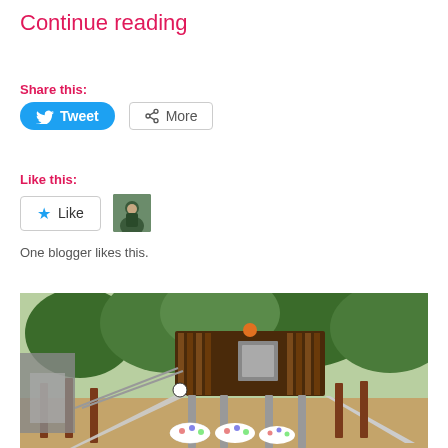Continue reading
Share this:
Tweet | More
Like this:
Like
One blogger likes this.
[Figure (photo): A modern treehouse playground structure with wooden panels, metal railings, ramps and slides, surrounded by trees and wood chip ground cover with decorative polka-dot half-spheres.]